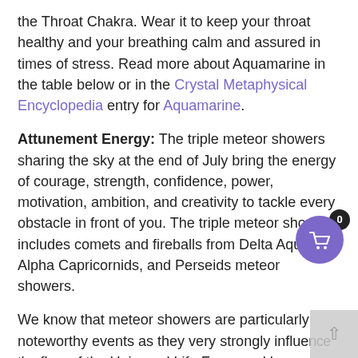the Throat Chakra. Wear it to keep your throat healthy and your breathing calm and assured in times of stress. Read more about Aquamarine in the table below or in the Crystal Metaphysical Encyclopedia entry for Aquamarine.
Attunement Energy: The triple meteor showers sharing the sky at the end of July bring the energy of courage, strength, confidence, power, motivation, ambition, and creativity to tackle every obstacle in front of you. The triple meteor shower includes comets and fireballs from Delta Aquariids, Alpha Capricornids, and Perseids meteor showers.
We know that meteor showers are particularly noteworthy events as they very strongly influence the flow of the Universal Life Force and have very pronounced effects on our spirits. The Delta Aquariid meteor shower, especially with the addition of Alpha Capricornids and Perseids, is no exception.